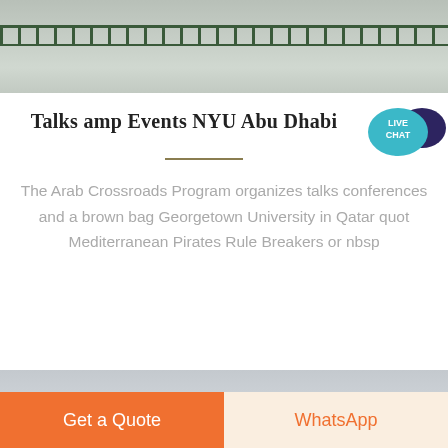[Figure (photo): Aerial or ground view of a sports court or stadium with green fence railing]
Talks amp Events NYU Abu Dhabi
[Figure (illustration): Live Chat speech bubble badge in teal/dark blue colors with text LIVE CHAT]
The Arab Crossroads Program organizes talks conferences and a brown bag Georgetown University in Qatar quot Mediterranean Pirates Rule Breakers or nbsp
[Figure (photo): Outdoor scene with grey sky and a piece of equipment or structure at the bottom]
Get a Quote
WhatsApp